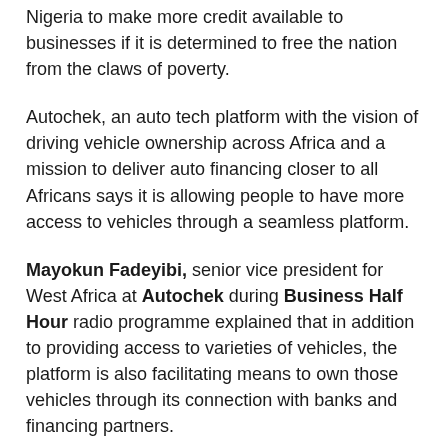Nigeria to make more credit available to businesses if it is determined to free the nation from the claws of poverty.
Autochek, an auto tech platform with the vision of driving vehicle ownership across Africa and a mission to deliver auto financing closer to all Africans says it is allowing people to have more access to vehicles through a seamless platform.
Mayokun Fadeyibi, senior vice president for West Africa at Autochek during Business Half Hour radio programme explained that in addition to providing access to varieties of vehicles, the platform is also facilitating means to own those vehicles through its connection with banks and financing partners.
“This way, customers can apply and get offers from different banks so that when those cars are financed, they are also